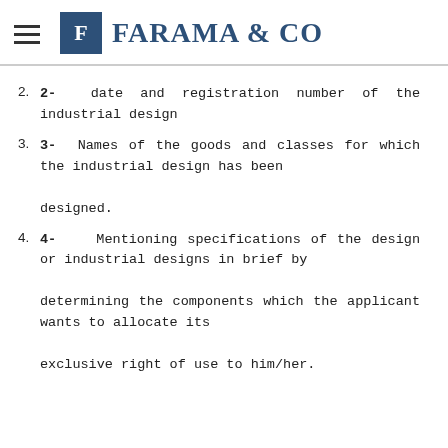FARAMA & CO
2- date and registration number of the industrial design
3- Names of the goods and classes for which the industrial design has been designed.
4- Mentioning specifications of the design or industrial designs in brief by determining the components which the applicant wants to allocate its exclusive right of use to him/her.